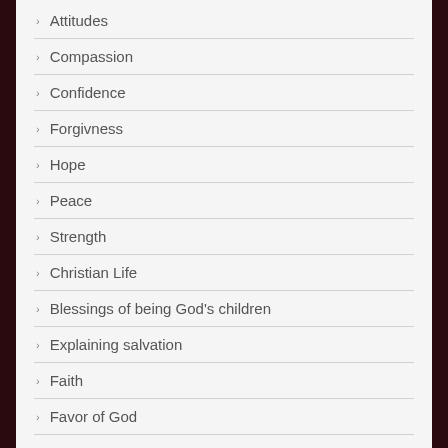Attitudes
Compassion
Confidence
Forgivness
Hope
Peace
Strength
Christian Life
Blessings of being God's children
Explaining salvation
Faith
Favor of God